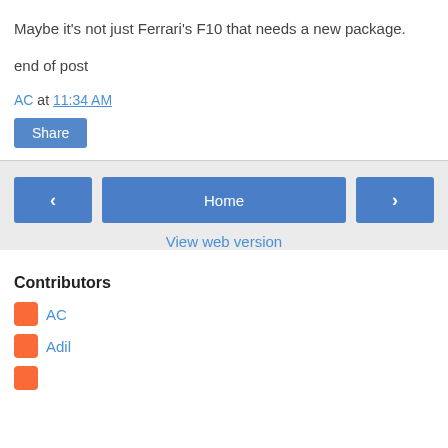Maybe it's not just Ferrari's F10 that needs a new package.
end of post
AC at 11:34 AM
[Figure (other): Share button - blue rounded rectangle]
[Figure (other): Navigation row with left arrow button, Home button, right arrow button, and View web version link]
Contributors
AC
Adil